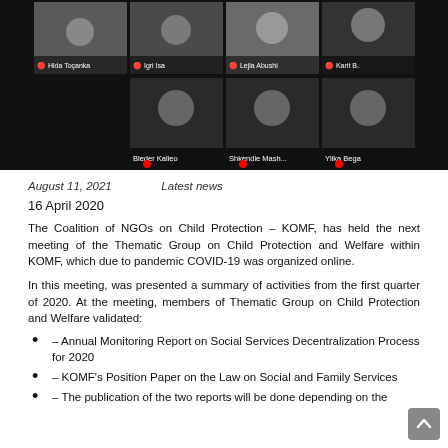[Figure (screenshot): Online video conference screenshot showing multiple participants in a grid layout. Top row shows four participants: Hida Toçanka, Igri Isa, Lejla Abushi, Karit B. Bottom row shows three participants: Bleder Kalleo, Shkendie Mash..., Ylika Bega. Background is black.]
August 11, 2021    Latest news
16 April 2020
The Coalition of NGOs on Child Protection – KOMF, has held the next meeting of the Thematic Group on Child Protection and Welfare within KOMF, which due to pandemic COVID-19 was organized online.
In this meeting, was presented a summary of activities from the first quarter of 2020. At the meeting, members of Thematic Group on Child Protection and Welfare validated:
– Annual Monitoring Report on Social Services Decentralization Process for 2020
– KOMF's Position Paper on the Law on Social and Family Services
– The publication of the two reports will be done depending on the